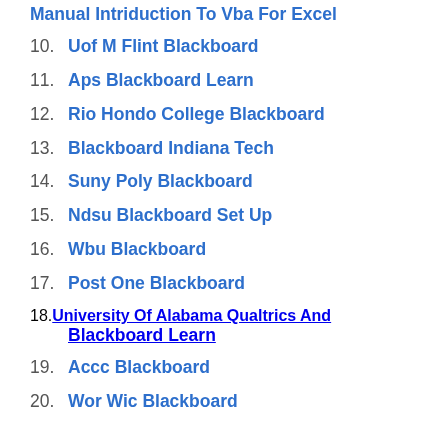Manual Intriduction To Vba For Excel
10. Uof M Flint Blackboard
11. Aps Blackboard Learn
12. Rio Hondo College Blackboard
13. Blackboard Indiana Tech
14. Suny Poly Blackboard
15. Ndsu Blackboard Set Up
16. Wbu Blackboard
17. Post One Blackboard
18. University Of Alabama Qualtrics And Blackboard Learn
19. Accc Blackboard
20. Wor Wic Blackboard